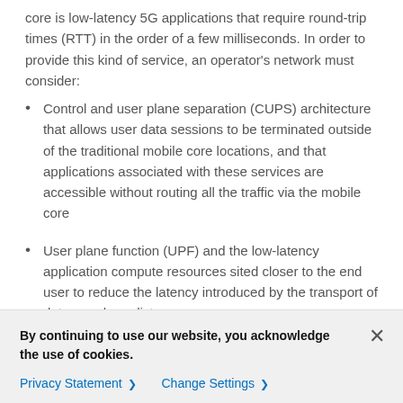core is low-latency 5G applications that require round-trip times (RTT) in the order of a few milliseconds. In order to provide this kind of service, an operator's network must consider:
Control and user plane separation (CUPS) architecture that allows user data sessions to be terminated outside of the traditional mobile core locations, and that applications associated with these services are accessible without routing all the traffic via the mobile core
User plane function (UPF) and the low-latency application compute resources sited closer to the end user to reduce the latency introduced by the transport of data over long distances
Since the speed of light determines how quickly traffic
By continuing to use our website, you acknowledge the use of cookies.
Privacy Statement > Change Settings >